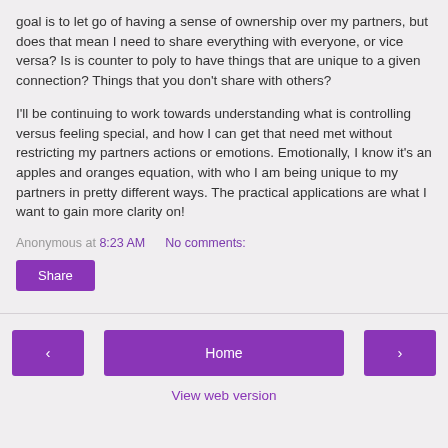goal is to let go of having a sense of ownership over my partners, but does that mean I need to share everything with everyone, or vice versa? Is is counter to poly to have things that are unique to a given connection? Things that you don't share with others?
I'll be continuing to work towards understanding what is controlling versus feeling special, and how I can get that need met without restricting my partners actions or emotions. Emotionally, I know it's an apples and oranges equation, with who I am being unique to my partners in pretty different ways. The practical applications are what I want to gain more clarity on!
Anonymous at 8:23 AM   No comments:
Share
‹   Home   ›   View web version